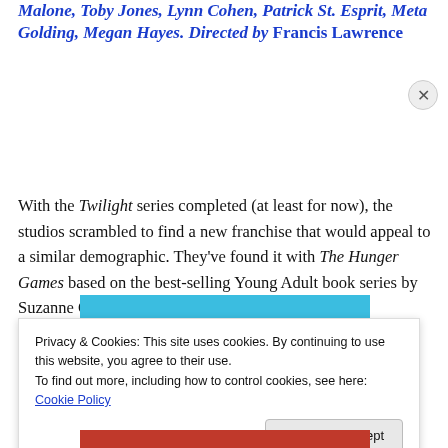Malone, Toby Jones, Lynn Cohen, Patrick St. Esprit, Meta Golding, Megan Hayes. Directed by Francis Lawrence
With the Twilight series completed (at least for now), the studios scrambled to find a new franchise that would appeal to a similar demographic. They've found it with The Hunger Games based on the best-selling Young Adult book series by Suzanne Collins.
[Figure (infographic): Blue banner advertisement with text: 'The only journaling app you'll ever need.']
Privacy & Cookies: This site uses cookies. By continuing to use this website, you agree to their use.
To find out more, including how to control cookies, see here: Cookie Policy